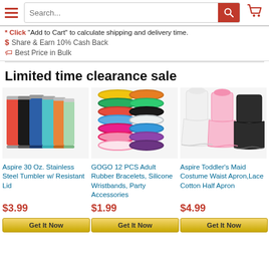[Figure (screenshot): Website header with hamburger menu, search bar, and cart icon]
* Click "Add to Cart" to calculate shipping and delivery time.
$ Share & Earn 10% Cash Back
Best Price in Bulk
Limited time clearance sale
[Figure (photo): Aspire 30 Oz. Stainless Steel Tumbler with Resistant Lid - multiple colors]
Aspire 30 Oz. Stainless Steel Tumbler w/ Resistant Lid
$3.99
[Figure (photo): GOGO 12 PCS Adult Rubber Bracelets, Silicone Wristbands colorful]
GOGO 12 PCS Adult Rubber Bracelets, Silicone Wristbands, Party Accessories
$1.99
[Figure (photo): Aspire Toddler's Maid Costume Waist Apron, Lace Cotton Half Apron]
Aspire Toddler's Maid Costume Waist Apron,Lace Cotton Half Apron
$4.99